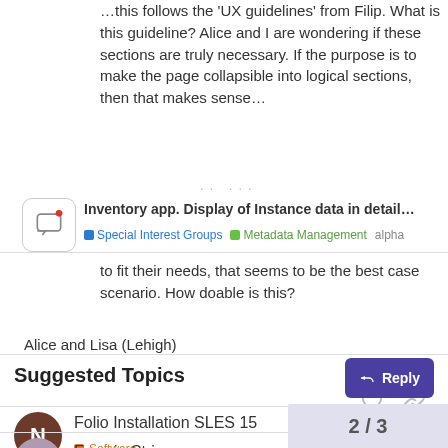...this follows the 'UX guidelines' from Filip. What is this guideline? Alice and I are wondering if these sections are truly necessary. If the purpose is to make the page collapsible into logical sections, then that makes sense…
Inventory app. Display of Instance data in detail…
Special Interest Groups  Metadata Management  alpha
to fit their needs, that seems to be the best case scenario. How doable is this?
Alice and Lisa (Lehigh)
Suggested Topics
Folio Installation SLES 15
Software
Error in Stripes serve
2 / 3